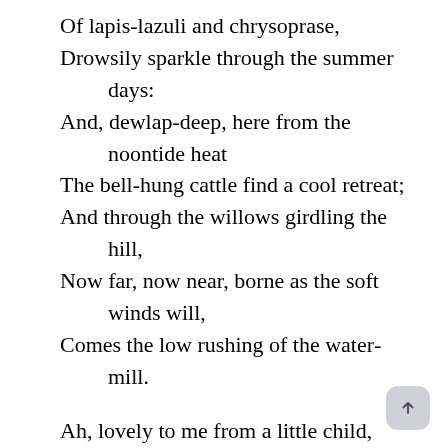Of lapis-lazuli and chrysoprase,
Drowsily sparkle through the summer days:
And, dewlap-deep, here from the noontide heat
The bell-hung cattle find a cool retreat;
And through the willows girdling the hill,
Now far, now near, borne as the soft winds will,
Comes the low rushing of the water-mill.

Ah, lovely to me from a little child,
How changed the place! wherein once, undefiled,